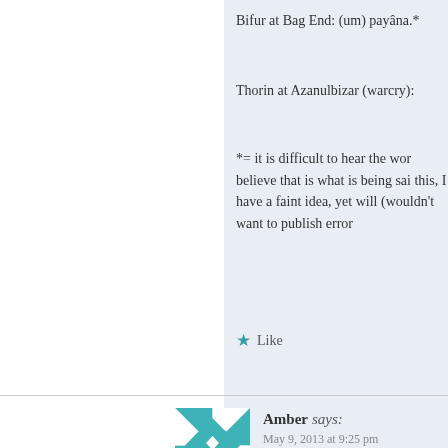Bifur at Bag End: (um) payâna.*
Thorin at Azanulbizar (warcry):
*= it is difficult to hear the wor believe that is what is being sai this, I have a faint idea, yet will (wouldn't want to publish error
Like
Amber says:
May 9, 2013 at 9:25 pm
One other thing with Bifur's at Ba student for 3 years and I've read s iglishmêk loosely off of ASL so wi while he spoke, he could indicatin Oakenshield was a given name b